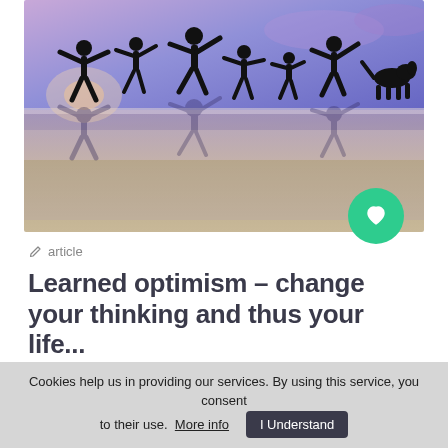[Figure (photo): Silhouettes of people and a dog jumping joyfully on a beach at sunset, with their reflections visible on the wet sand below. Vibrant purple and blue sky in background.]
article
Learned optimism – change your thinking and thus your life...
...are much more successful at school, at work and in
Cookies help us in providing our services. By using this service, you consent to their use. More info  I Understand